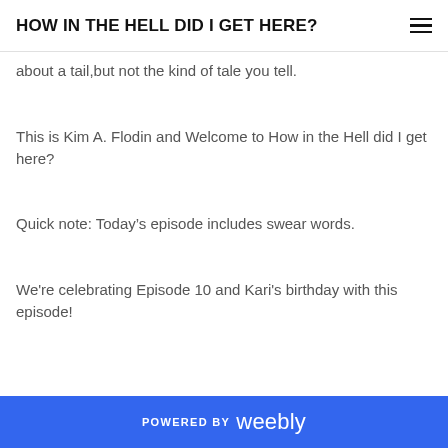HOW IN THE HELL DID I GET HERE?
about a tail,but not the kind of tale you tell.
This is Kim A. Flodin and Welcome to How in the Hell did I get here?
Quick note: Today’s episode includes swear words.
We're celebrating Episode 10 and Kari's birthday with this episode!
POWERED BY weebly